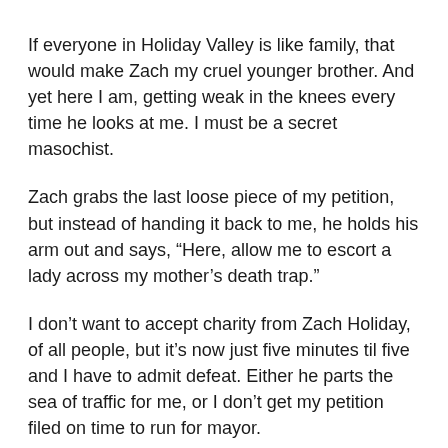If everyone in Holiday Valley is like family, that would make Zach my cruel younger brother. And yet here I am, getting weak in the knees every time he looks at me. I must be a secret masochist.
Zach grabs the last loose piece of my petition, but instead of handing it back to me, he holds his arm out and says, “Here, allow me to escort a lady across my mother’s death trap.”
I don’t want to accept charity from Zach Holiday, of all people, but it’s now just five minutes til five and I have to admit defeat. Either he parts the sea of traffic for me, or I don’t get my petition filed on time to run for mayor.